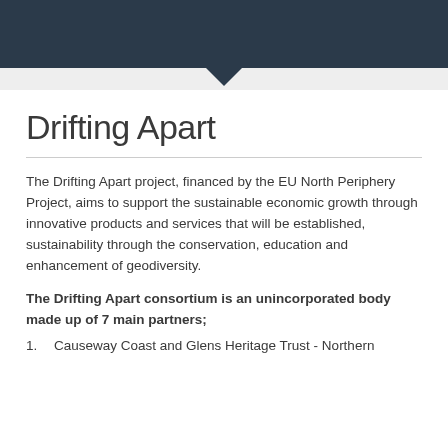Drifting Apart
The Drifting Apart project, financed by the EU North Periphery Project, aims to support the sustainable economic growth through innovative products and services that will be established, sustainability through the conservation, education and enhancement of geodiversity.
The Drifting Apart consortium is an unincorporated body made up of 7 main partners;
Causeway Coast and Glens Heritage Trust - Northern